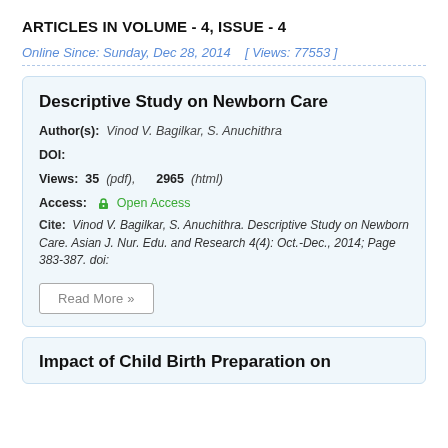ARTICLES IN VOLUME - 4, ISSUE - 4
Online Since: Sunday, Dec 28, 2014    [ Views: 77553 ]
Descriptive Study on Newborn Care
Author(s):  Vinod V. Bagilkar, S. Anuchithra
DOI:
Views:  35  (pdf),       2965  (html)
Access:  🔒 Open Access
Cite:  Vinod V. Bagilkar, S. Anuchithra. Descriptive Study on Newborn Care. Asian J. Nur. Edu. and Research 4(4): Oct.-Dec., 2014; Page 383-387. doi:
Read More »
Impact of Child Birth Preparation on